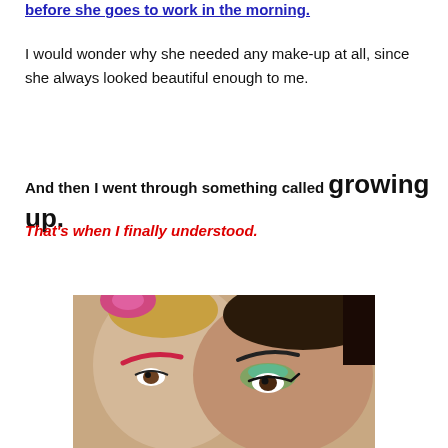before she goes to work in the morning.
I would wonder why she needed any make-up at all, since she always looked beautiful enough to me.
And then I went through something called growing up.
That's when I finally understood.
[Figure (photo): Two women with heavy, artistic makeup — one with pink/red eyebrows and colorful hair accessories, another with green and blue eyeshadow and dramatic cat-eye liner]